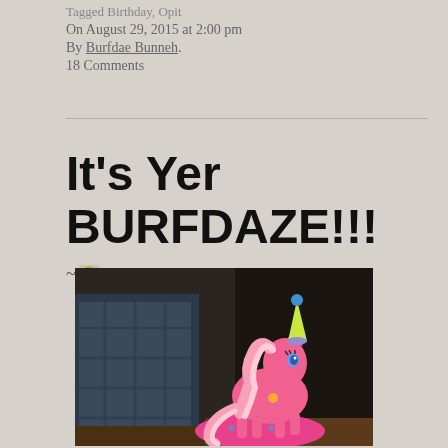Tagged Birthday, Opit
On August 29, 2015 at 2:00 pm
By Burfdae Bunneh.
18 Comments
It's Yer BURFDAZE!!!
~😊 Boops: 5
[Figure (photo): A pink My Little Pony toy figure wearing a yellow party hat with a blue pompom on top, posed on a pink decorative base with star shapes. Background shows a dark room with a plaid chair visible.]